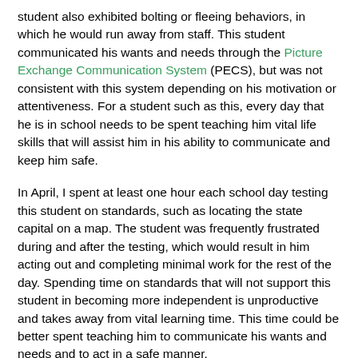student also exhibited bolting or fleeing behaviors, in which he would run away from staff. This student communicated his wants and needs through the Picture Exchange Communication System (PECS), but was not consistent with this system depending on his motivation or attentiveness. For a student such as this, every day that he is in school needs to be spent teaching him vital life skills that will assist him in his ability to communicate and keep him safe.
In April, I spent at least one hour each school day testing this student on standards, such as locating the state capital on a map. The student was frequently frustrated during and after the testing, which would result in him acting out and completing minimal work for the rest of the day. Spending time on standards that will not support this student in becoming more independent is unproductive and takes away from vital learning time. This time could be better spent teaching him to communicate his wants and needs and to act in a safe manner.
Holding students to high standards is extremely important in order to allow them to be successful members of our society. However, for students with significant disabilities, time can be better spent focusing on daily living skills...